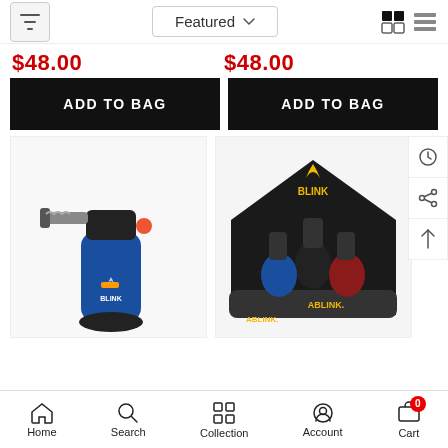Featured (dropdown) | Filter | Grid/List view toggle
$48.00  $48.00
ADD TO BAG  ADD TO BAG
[Figure (photo): Blue BLINK torch lighter on white background]
[Figure (photo): BLINK brand lighter display box with multiple colored lighters]
Home  Search  Collection  Account  Cart (0)